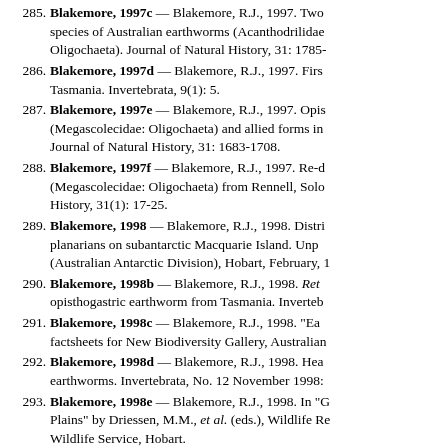285. Blakemore, 1997c — Blakemore, R.J., 1997. Two species of Australian earthworms (Acanthodrilidae Oligochaeta). Journal of Natural History, 31: 1785-
286. Blakemore, 1997d — Blakemore, R.J., 1997. Firs Tasmania. Invertebrata, 9(1): 5.
287. Blakemore, 1997e — Blakemore, R.J., 1997. Opis (Megascolecidae: Oligochaeta) and allied forms in Journal of Natural History, 31: 1683-1708.
288. Blakemore, 1997f — Blakemore, R.J., 1997. Re-d (Megascolecidae: Oligochaeta) from Rennell, Solo History, 31(1): 17-25.
289. Blakemore, 1998 — Blakemore, R.J., 1998. Distri planarians on subantarctic Macquarie Island. Unp (Australian Antarctic Division), Hobart, February, 1
290. Blakemore, 1998b — Blakemore, R.J., 1998. Ret opisthogastric earthworm from Tasmania. Inverteb
291. Blakemore, 1998c — Blakemore, R.J., 1998. "Ea factsheets for New Biodiversity Gallery, Australian
292. Blakemore, 1998d — Blakemore, R.J., 1998. Hea earthworms. Invertebrata, No. 12 November 1998:
293. Blakemore, 1998e — Blakemore, R.J., 1998. In "G Plains" by Driessen, M.M., et al. (eds.), Wildlife Re Wildlife Service, Hobart.